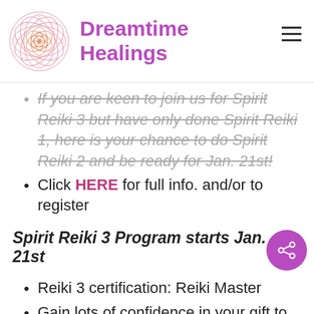[Figure (logo): Dreamtime Healings logo with mandala flower geometric design in pink/orange tones]
Dreamtime Healings
If you are keen to join us for Spirit Reiki 3 but have only done Spirit Reiki 1, here is your chance to do Spirit Reiki 2 and be ready for Jan. 21st!
Click HERE for full info. and/or to register
Spirit Reiki 3 Program starts Jan. 21st
Reiki 3 certification: Reiki Master
Gain lots of confidence in your gift to share the amazing Reiki energy with yourself and others
Mastery of all 7 Reiki symbols